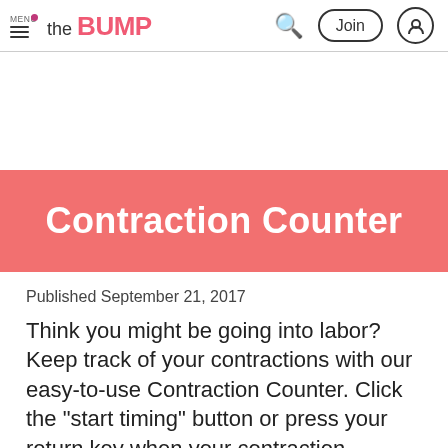MENU | the BUMP | Search | Join | User icon
Contraction Counter
Published September 21, 2017
Think you might be going into labor? Keep track of your contractions with our easy-to-use Contraction Counter. Click the "start timing" button or press your return key when your contraction begins, then i